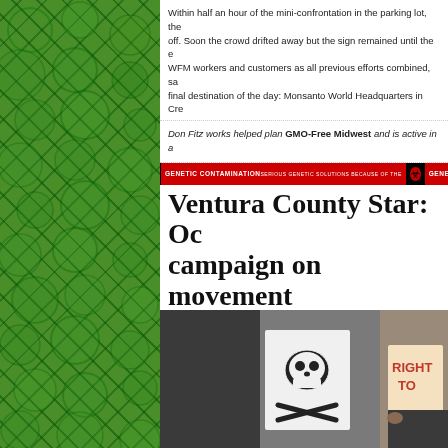Within half an hour of the mini-confrontation in the parking lot, the... off. Soon the crowd drifted away but the sign remained until the e... WFM workers and customers as all previous efforts combined, sa... final destination of the day: Monsanto World Headquarters in Cre...
Don Fitz works helped plan GMO-Free Midwest and is active in a...
[Figure (infographic): Red and black banner strip repeating 'GENETIC CONTAMINATION' text with biohazard symbols]
Ventura County Star: Oc... campaign on movement...
Posted: September 18th, 2012 | Filed under: Photos, Press | Tags: CA, Ca... Power-Gomez, Prop 37., Proposition 37, Protest, Seminis, Thousand Oaks, T...
[Figure (photo): Protesters holding signs including skull and crossbones sign and a sign reading RIGHT TO...]